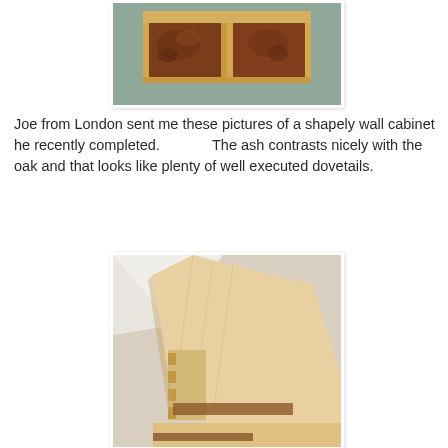[Figure (photo): Photo of a wooden wall cabinet with two dark burl wood drawer fronts set in a light ash/maple frame, mounted on a wall.]
Joe from London sent me these pictures of a shapely wall cabinet he recently completed.                    The ash contrasts nicely with the oak and that looks like plenty of well executed dovetails.
[Figure (photo): Close-up photo showing the underside and side of a wooden wall cabinet, revealing dovetail joinery details in light ash/maple wood.]